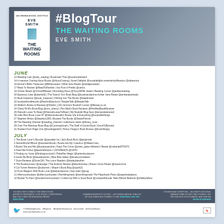[Figure (illustration): Blog tour promotional poster for 'The Waiting Rooms' by Eve Smith, showing book cover on left and header text on right against a grey hospital corridor background]
#BlogTour
THE WAITING ROOMS
EVE SMITH
JUNE
13 Reading Cats @cats_reading | Bookmark That @bookmarkthatch
14 A massive Craving About Books @AboutCraving | Novel Delights @noveldelights entertainloyReacton @rpbeanuts
16 Emma's Biblio Treasures @Bibliocreator | What Jess Reads @whatjessreads
17 Read To Review @ReadToRamble | Into Post A Prattle @carlou
19 Chrissi Reads @ChrissiBReads | Mumbling About @TonyJMHill Jacke's Reading Corner @jackiesreading
20 Espresso Cate @daw4y02 | The Total & Turn Book Blog @booksandamina Amber Jane Reads @amberjanereads
21 Book Inspector @book_inspector | Hinting Into The Books @weekinstan
22 booksbehindthesofa @NachinElrantoml | ReaderTalk @ReaderTalk
23 Shalini's Books & Reviews @Shalini_C26 | Emma's Bookish Corner @lifeway.co.uk
24 Cheryl M-M's Book Blog @mm_cherryl | Pen Med's Book Reviews @PenMedBookReviews
25 Hannah Loves To Read @HannahLovesToRead | My Bookish Blog Spot  @amandelanoret2
26 Little Miss Book Lover 87 @littlemissbookb1 Books Life & Everything @bookslifetthings
27 Stephen Writes @Stephen1305 | Booked The Books @StacieParmel
28 The Reading Channel @reading_channel | collections reads @library_lover
29 Over The Rainbow Book Blog @Corinnajohnph | The Staff of Untold Book | DoneToBanned
31 Hooked From Page One @howtingerekS | Penny Floppy's Book Bureau @brownfloppy
JULY
1 The Book Lover's Boudoir @pauaitter ba | Jans Book Buzz @janjannab
2 SecretWorldOfBook @secretezbbook | Books Are My Coauthor @WaterCrazy
3 Books Tea and Me @bookstoandme | Feed The Crime @sister_jadeo Melanie's Reads @melanie007D071
4 Feed Me Fiction @feedmefictions | CNToREADS @GNTb
5 Finding my Voice @findingmyvoice2 | PabeRex Magic @bartenbookworm
6 books By Birds @haveabybirdx | Blue Blue Italian @blueboomiralteen
7 Suza Reviews @SuzeCM | The Lotus Readers @hadeyblesthini
8 The Bookwormery @netudge | The Eclectic Review @electicreview | Raven Crime Reads @ravencrime
9 Col Turner Reviews @colturner | Shapir's Book Blog @sjosh21
10 From Belgium With Book Love @bellyandamme | btcp reals @prog
11 Afternoonbookery @afternoonbooker | Ramblingmads @ramblingmads The Paperback Piano @paperbackpiano
12 Booker To Farm @bookermommyreads | Curled Up With a Good Book @cctlopwithbooks Tales Before Bedtime @shelleyfallow
YOU NEXT SEE TO REALITY THE GRIM FUTURE
ANTIBIOTIC RESISTANCE, LOVE TESTED, COMPROMISED
AND TRULY SENT FROM AN AGING PATIENT
#TheWaitingRooms #BlogTour #AntibioticResistance @evesmith @OrendarBooks
www.orendarbooks.co.uk